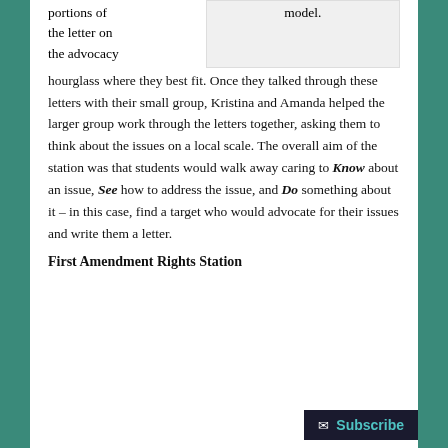portions of the letter on the advocacy hourglass where they best fit. Once they talked through these letters with their small group, Kristina and Amanda helped the larger group work through the letters together, asking them to think about the issues on a local scale. The overall aim of the station was that students would walk away caring to Know about an issue, See how to address the issue, and Do something about it – in this case, find a target who would advocate for their issues and write them a letter.
First Amendment Rights Station